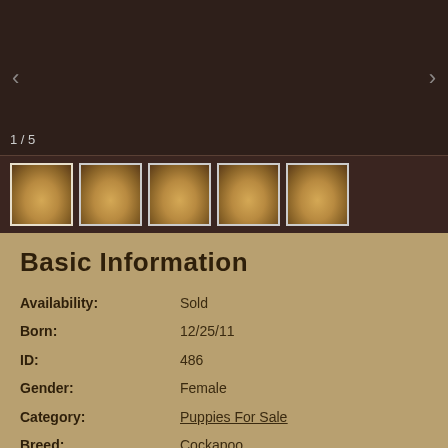[Figure (photo): Dark brown background main photo area showing puppy image, with navigation arrows and counter '1 / 5']
[Figure (photo): Thumbnail strip showing 5 small puppy photos of a Cockapoo]
Basic Information
Availability: Sold
Born: 12/25/11
ID: 486
Gender: Female
Category: Puppies For Sale
Breed: Cockapoo
Litter: No Litter Info